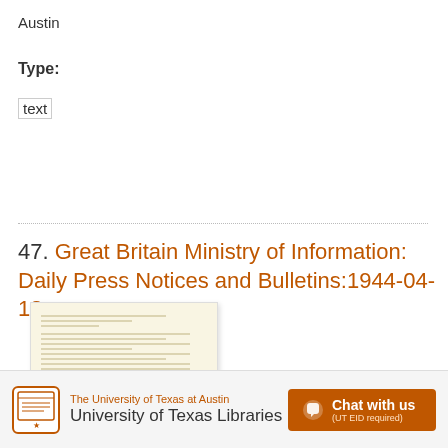Austin
Type:
text
47. Great Britain Ministry of Information: Daily Press Notices and Bulletins:1944-04-13
[Figure (photo): Thumbnail image of a scanned historical document page with typed text on cream/yellow paper]
The University of Texas at Austin University of Texas Libraries  Chat with us (UT EID required)